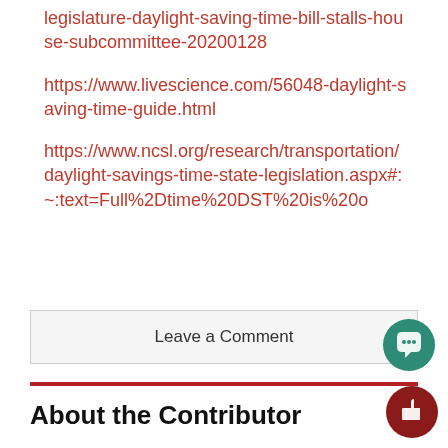legislature-daylight-saving-time-bill-stalls-house-subcommittee-20200128
https://www.livescience.com/56048-daylight-saving-time-guide.html
https://www.ncsl.org/research/transportation/daylight-savings-time-state-legislation.aspx#:~:text=Full%2Dtime%20DST%20is%20o
Leave a Comment
About the Contributor